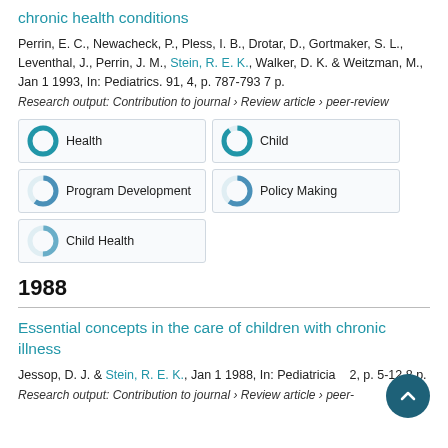chronic health conditions
Perrin, E. C., Newacheck, P., Pless, I. B., Drotar, D., Gortmaker, S. L., Leventhal, J., Perrin, J. M., Stein, R. E. K., Walker, D. K. & Weitzman, M., Jan 1 1993, In: Pediatrics. 91, 4, p. 787-793 7 p.
Research output: Contribution to journal › Review article › peer-review
[Figure (infographic): Five topic badges with donut chart icons: Health (100%), Child (90%), Program Development (60%), Policy Making (60%), Child Health (50%)]
1988
Essential concepts in the care of children with chronic illness
Jessop, D. J. & Stein, R. E. K., Jan 1 1988, In: Pediatrician. 2, p. 5-12 8 p.
Research output: Contribution to journal › Review article › peer-